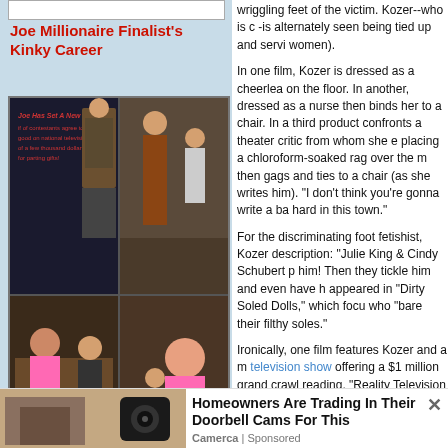Joe Millionaire Finalist's Kinky Career
[Figure (photo): Four-panel photo grid showing scenes from adult films featuring the Joe Millionaire finalist]
Reality TV, New Low
wriggling feet of the victim. Kozer--who is -is alternately seen being tied up and servi women).
In one film, Kozer is dressed as a cheerlea on the floor. In another, dressed as a nurse then binds her to a chair. In a third product confronts a theater critic from whom she e placing a chloroform-soaked rag over the r then gags and ties to a chair (as she writes him). "I don't think you're gonna write a ba hard in this town."
For the discriminating foot fetishist, Kozer description: "Julie King & Cindy Schubert p him! Then they tickle him and even have h appeared in "Dirty Soled Dolls," which focu who "bare their filthy soles."
Ironically, one film features Kozer and a m television show offering a $1 million grand crawl reading, "Reality Television Has Hit A between Kozer and her opponent--both of
[Figure (infographic): Submit a Tip arrow graphic in red and black]
[Figure (photo): Camera/doorbell image in bottom left]
Homeowners Are Trading In Their Doorbell Cams For This
Camerca | Sponsored